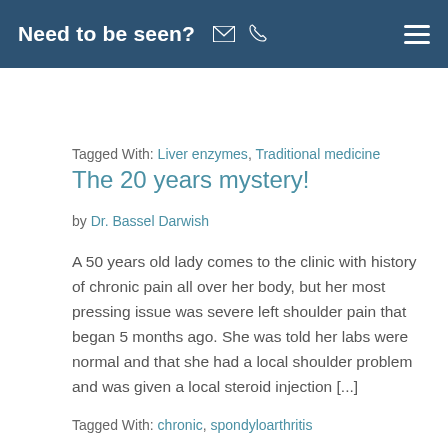Need to be seen?
Tagged With: Liver enzymes, Traditional medicine
The 20 years mystery!
by Dr. Bassel Darwish
A 50 years old lady comes to the clinic with history of chronic pain all over her body, but her most pressing issue was severe left shoulder pain that began 5 months ago. She was told her labs were normal and that she had a local shoulder problem and was given a local steroid injection [...]
Tagged With: chronic, spondyloarthritis